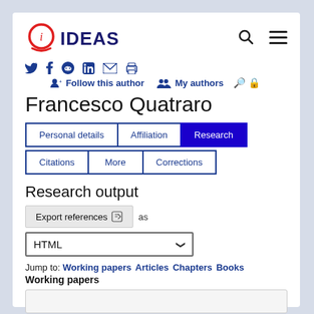[Figure (logo): IDEAS logo: red circle with letter i inside and red underline, followed by bold dark blue text IDEAS]
Follow this author   My authors
Francesco Quatraro
Personal details | Affiliation | Research | Citations | More | Corrections
Research output
Export references as HTML
Jump to: Working papers Articles Chapters Books
Working papers